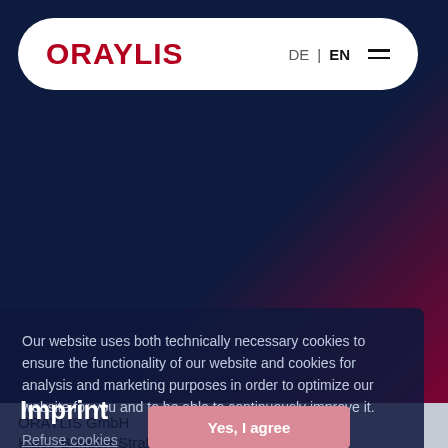[Figure (logo): ORAYLIS logo in dark red/crimson on white navigation bar with rounded corners. Navigation bar also shows DE | EN language switcher and hamburger menu icon.]
Our website uses both technically necessary cookies to ensure the functionality of our website and cookies for analysis and marketing purposes in order to optimize our website for you and to be able to continuously improve it.
Refuse cookies
Imprint
Yes, I agree
ORAYLIS GmbH
Klaus-Bungert-Straße 4